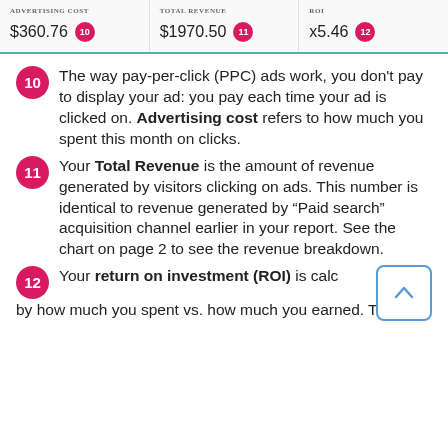| ADVERTISING COST | TOTAL REVENUE | ROI |
| --- | --- | --- |
| $360.76 10 | $1970.50 11 | x5.46 12 |
10 The way pay-per-click (PPC) ads work, you don't pay to display your ad: you pay each time your ad is clicked on. Advertising cost refers to how much you spent this month on clicks.
11 Your Total Revenue is the amount of revenue generated by visitors clicking on ads. This number is identical to revenue generated by "Paid search" acquisition channel earlier in your report. See the chart on page 2 to see the revenue breakdown.
12 Your return on investment (ROI) is calculated by how much you spent vs. how much you earned. This